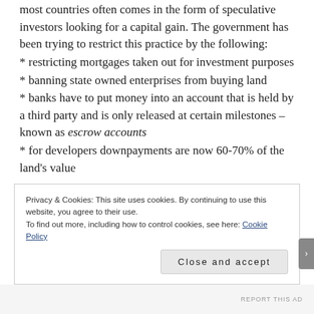most countries often comes in the form of speculative investors looking for a capital gain. The government has been trying to restrict this practice by the following:
* restricting mortgages taken out for investment purposes
* banning state owned enterprises from buying land
* banks have to put money into an account that is held by a third party and is only released at certain milestones – known as escrow accounts
* for developers downpayments are now 60-70% of the land's value
Privacy & Cookies: This site uses cookies. By continuing to use this website, you agree to their use.
To find out more, including how to control cookies, see here: Cookie Policy
Close and accept